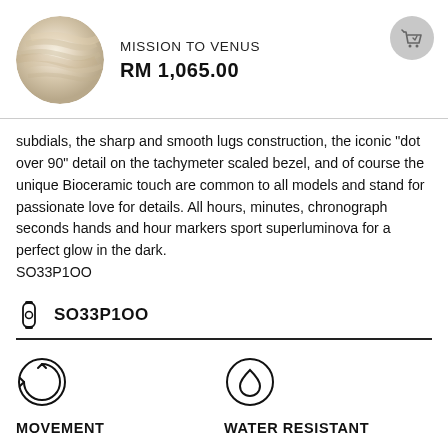[Figure (photo): Circular image of Venus planet, white/cream colored with swirling cloud patterns]
MISSION TO VENUS
RM 1,065.00
[Figure (illustration): Shopping bag / cart icon in grey circle, top right corner]
subdials, the sharp and smooth lugs construction, the iconic “dot over 90” detail on the tachymeter scaled bezel, and of course the unique Bioceramic touch are common to all models and stand for passionate love for details. All hours, minutes, chronograph seconds hands and hour markers sport superluminova for a perfect glow in the dark. SO33P1OO
SO33P1OO
[Figure (illustration): Watch/clock icon]
MOVEMENT
[Figure (illustration): Circular arrows / refresh icon]
WATER RESISTANT
[Figure (illustration): Water drop icon in circle]